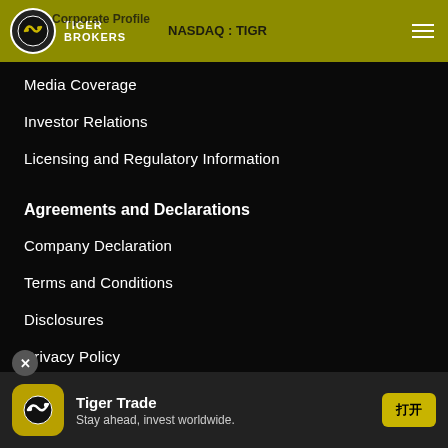Corporate Profile NASDAQ : TIGR Tiger Brokers
Media Coverage
Investor Relations
Licensing and Regulatory Information
Agreements and Declarations
Company Declaration
Terms and Conditions
Disclosures
Privacy Policy
Others
Contact Us
[Figure (other): Tiger Trade app promotional banner: app icon, 'Tiger Trade', 'Stay ahead, invest worldwide.' with a yellow CTA button]